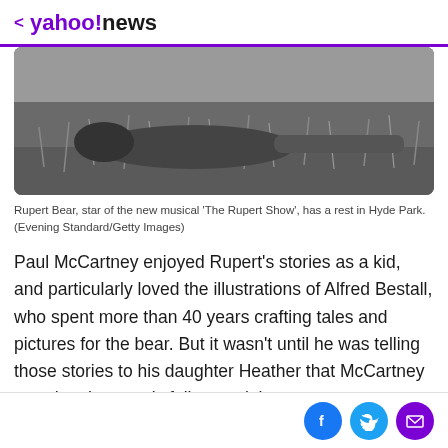< yahoo!news
[Figure (photo): Black and white photo of Rupert Bear lying in tall grass in Hyde Park]
Rupert Bear, star of the new musical 'The Rupert Show', has a rest in Hyde Park. (Evening Standard/Getty Images)
Paul McCartney enjoyed Rupert's stories as a kid, and particularly loved the illustrations of Alfred Bestall, who spent more than 40 years crafting tales and pictures for the bear. But it wasn't until he was telling those stories to his daughter Heather that McCartney saw the character's full potential.
Social share icons: Facebook, Twitter, Email